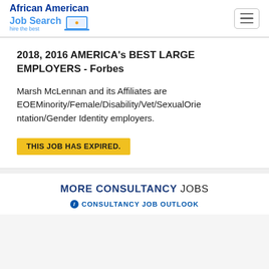[Figure (logo): African American Job Search logo with laptop icon and tagline 'hire the best']
2018, 2016 AMERICA's BEST LARGE EMPLOYERS - Forbes
Marsh McLennan and its Affiliates are EOEMinority/Female/Disability/Vet/SexualOrientation/Gender Identity employers.
THIS JOB HAS EXPIRED.
MORE CONSULTANCY JOBS
CONSULTANCY JOB OUTLOOK